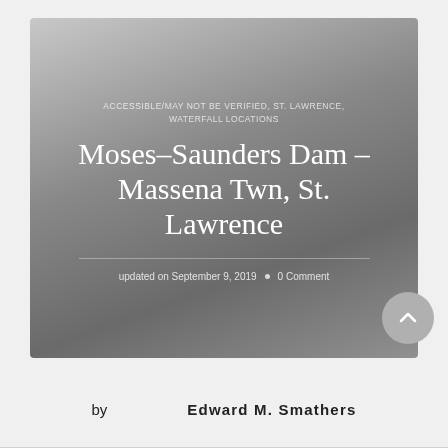[Figure (illustration): Hero banner with gradient gray background containing category labels, article title, divider, and metadata (date and comment count)]
updated on September 9, 2019  •  0 Comment
by   Edward M. Smathers